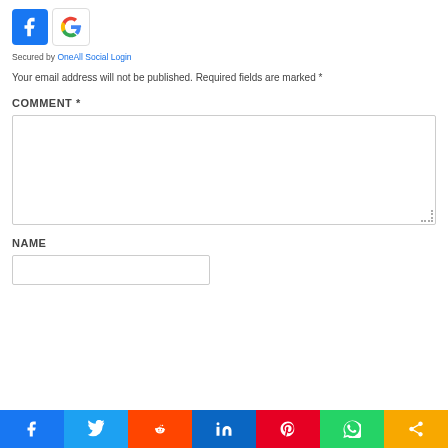[Figure (logo): Facebook and Google social login icons]
Secured by OneAll Social Login
Your email address will not be published. Required fields are marked *
COMMENT *
[Figure (screenshot): Empty comment text area input box]
NAME
[Figure (screenshot): Empty name text input box]
[Figure (infographic): Social share bar with Facebook, Twitter, Reddit, LinkedIn, Pinterest, WhatsApp, and More buttons]